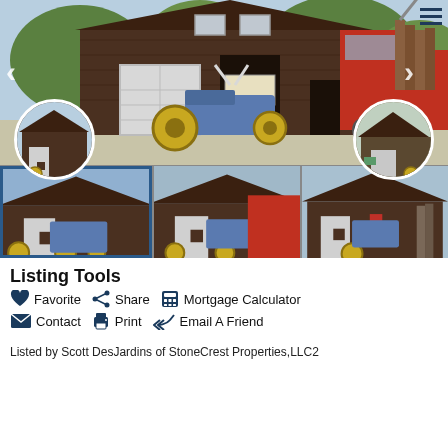[Figure (photo): Main photo of a large wooden barn with garage door, blue tractor in foreground, logging truck on right side. Navigation arrows and hamburger menu overlay. Two circular thumbnail previews at bottom of main image.]
[Figure (photo): Three thumbnail photos below main image showing the same barn from various angles with tractors parked outside. First thumbnail is highlighted with blue border.]
Listing Tools
Favorite
Share
Mortgage Calculator
Contact
Print
Email A Friend
Listed by Scott DesJardins of StoneCrest Properties,LLC2